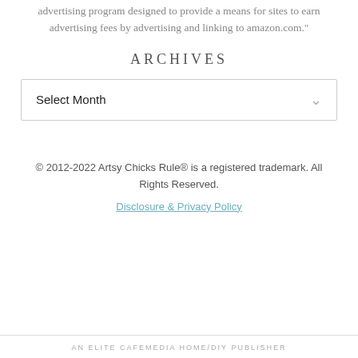advertising program designed to provide a means for sites to earn advertising fees by advertising and linking to amazon.com."
ARCHIVES
Select Month
© 2012-2022 Artsy Chicks Rule® is a registered trademark. All Rights Reserved.
Disclosure & Privacy Policy
AN ELITE CAFEMEDIA HOME/DIY PUBLISHER